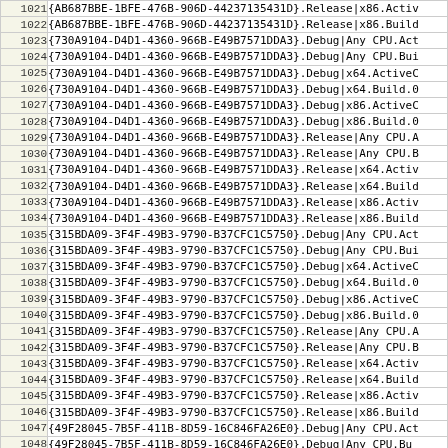| Line | Code |
| --- | --- |
| 1021 | {AB687BBE-1BFE-476B-906D-44237135431D}.Release|x86.Activ |
| 1022 | {AB687BBE-1BFE-476B-906D-44237135431D}.Release|x86.Build |
| 1023 | {730A9104-D4D1-4360-966B-E49B7571DDA3}.Debug|Any CPU.Act |
| 1024 | {730A9104-D4D1-4360-966B-E49B7571DDA3}.Debug|Any CPU.Bui |
| 1025 | {730A9104-D4D1-4360-966B-E49B7571DDA3}.Debug|x64.ActiveC |
| 1026 | {730A9104-D4D1-4360-966B-E49B7571DDA3}.Debug|x64.Build.0 |
| 1027 | {730A9104-D4D1-4360-966B-E49B7571DDA3}.Debug|x86.ActiveC |
| 1028 | {730A9104-D4D1-4360-966B-E49B7571DDA3}.Debug|x86.Build.0 |
| 1029 | {730A9104-D4D1-4360-966B-E49B7571DDA3}.Release|Any CPU.A |
| 1030 | {730A9104-D4D1-4360-966B-E49B7571DDA3}.Release|Any CPU.B |
| 1031 | {730A9104-D4D1-4360-966B-E49B7571DDA3}.Release|x64.Activ |
| 1032 | {730A9104-D4D1-4360-966B-E49B7571DDA3}.Release|x64.Build |
| 1033 | {730A9104-D4D1-4360-966B-E49B7571DDA3}.Release|x86.Activ |
| 1034 | {730A9104-D4D1-4360-966B-E49B7571DDA3}.Release|x86.Build |
| 1035 | {315BDA09-3F4F-49B3-9790-B37CFC1C5750}.Debug|Any CPU.Act |
| 1036 | {315BDA09-3F4F-49B3-9790-B37CFC1C5750}.Debug|Any CPU.Bui |
| 1037 | {315BDA09-3F4F-49B3-9790-B37CFC1C5750}.Debug|x64.ActiveC |
| 1038 | {315BDA09-3F4F-49B3-9790-B37CFC1C5750}.Debug|x64.Build.0 |
| 1039 | {315BDA09-3F4F-49B3-9790-B37CFC1C5750}.Debug|x86.ActiveC |
| 1040 | {315BDA09-3F4F-49B3-9790-B37CFC1C5750}.Debug|x86.Build.0 |
| 1041 | {315BDA09-3F4F-49B3-9790-B37CFC1C5750}.Release|Any CPU.A |
| 1042 | {315BDA09-3F4F-49B3-9790-B37CFC1C5750}.Release|Any CPU.B |
| 1043 | {315BDA09-3F4F-49B3-9790-B37CFC1C5750}.Release|x64.Activ |
| 1044 | {315BDA09-3F4F-49B3-9790-B37CFC1C5750}.Release|x64.Build |
| 1045 | {315BDA09-3F4F-49B3-9790-B37CFC1C5750}.Release|x86.Activ |
| 1046 | {315BDA09-3F4F-49B3-9790-B37CFC1C5750}.Release|x86.Build |
| 1047 | {49F28045-7B5F-411B-8D59-16C846FA26E0}.Debug|Any CPU.Act |
| 1048 | {49F28045-7B5F-411B-8D59-16C846FA26E0}.Debug|Any CPU... |